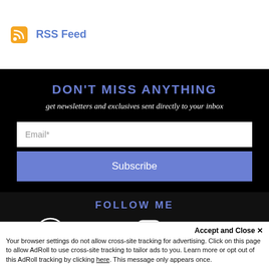[Figure (logo): RSS Feed icon and text link in orange and blue]
DON'T MISS ANYTHING
get newsletters and exclusives sent directly to your inbox
Email*
Subscribe
FOLLOW ME
[Figure (infographic): Social media icons: website globe, Facebook, Twitter, Instagram, BookBub, Amazon]
Accept and Close ✕
Your browser settings do not allow cross-site tracking for advertising. Click on this page to allow AdRoll to use cross-site tracking to tailor ads to you. Learn more or opt out of this AdRoll tracking by clicking here. This message only appears once.